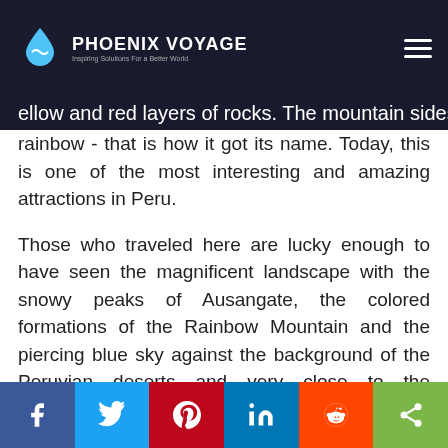Phoenix Voyage — Inspiring Solutions For a Better World
ellow and red layers of rocks. The mountain sides illuminate with all the colors of the rainbow - that is how it got its name. Today, this is one of the most interesting and amazing attractions in Peru.
Those who traveled here are lucky enough to have seen the magnificent landscape with the snowy peaks of Ausangate, the colored formations of the Rainbow Mountain and the piercing blue sky against the background of the Peruvian deserts and very close to the Amazonian jungle.
The existence of multi-colored mountains in Peru
[Figure (infographic): Social sharing bar with Facebook, Twitter, Pinterest, LinkedIn, Reddit, and share buttons]